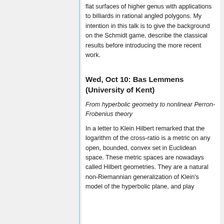flat surfaces of higher genus with applications to billiards in rational angled polygons. My intention in this talk is to give the background on the Schmidt game, describe the classical results before introducing the more recent work.
Wed, Oct 10: Bas Lemmens (University of Kent)
From hyperbolic geometry to nonlinear Perron-Frobenius theory
In a letter to Klein Hilbert remarked that the logarithm of the cross-ratio is a metric on any open, bounded, convex set in Euclidean space. These metric spaces are nowadays called Hilbert geometries. They are a natural non-Riemannian generalization of Klein's model of the hyperbolic plane, and play